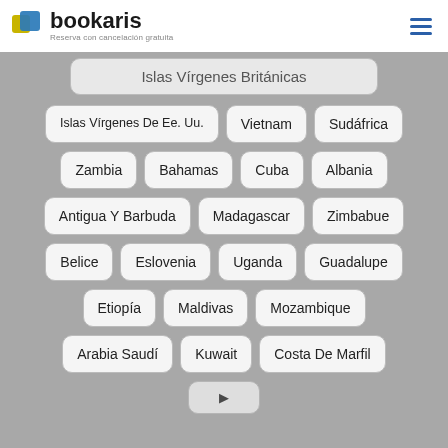bookaris — Reserva con cancelación gratuita
Islas Vírgenes Británicas
Islas Vírgenes De Ee. Uu.
Vietnam
Sudáfrica
Zambia
Bahamas
Cuba
Albania
Antigua Y Barbuda
Madagascar
Zimbabue
Belice
Eslovenia
Uganda
Guadalupe
Etiopía
Maldivas
Mozambique
Arabia Saudí
Kuwait
Costa De Marfil